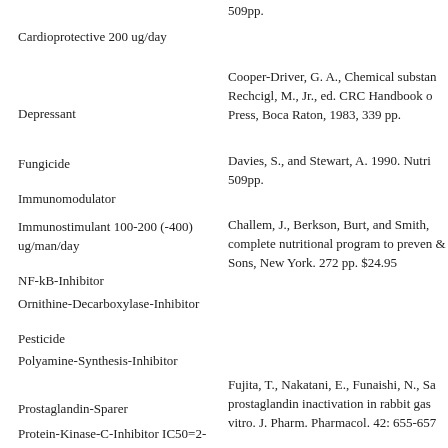509pp.
Cardioprotective 200 ug/day
Cooper-Driver, G. A., Chemical substan Rechcigl, M., Jr., ed. CRC Handbook o Press, Boca Raton, 1983, 339 pp.
Depressant
Davies, S., and Stewart, A. 1990. Nutri 509pp.
Fungicide
Immunomodulator
Challem, J., Berkson, Burt, and Smith, complete nutritional program to preven & Sons, New York. 272 pp. $24.95
Immunostimulant 100-200 (-400) ug/man/day
NF-kB-Inhibitor
Ornithine-Decarboxylase-Inhibitor
Pesticide
Polyamine-Synthesis-Inhibitor
Fujita, T., Nakatani, E., Funaishi, N., Sa prostaglandin inactivation in rabbit gas vitro. J. Pharm. Pharmacol. 42: 655-657
Prostaglandin-Sparer
Protein-Kinase-C-Inhibitor IC50=2-50 uM